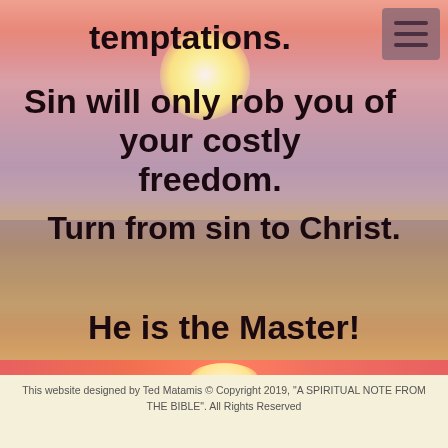[Figure (photo): Sunset over ocean with glowing sun and pink/orange sky, water reflection below]
temptations.
Sin will only rob you of your costly freedom.
Turn from sin to Christ.
He is the Master!
This website designed by Ted Matamis © Copyright 2019, "A SPIRITUAL NOTE FROM THE BIBLE". All Rights Reserved